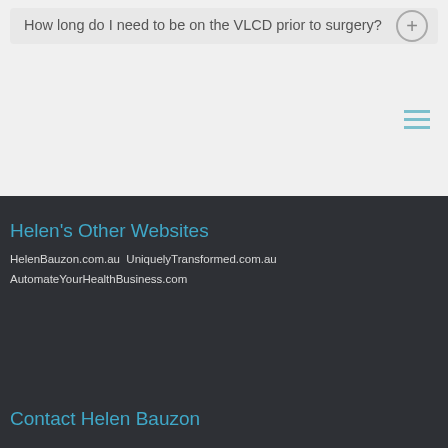How long do I need to be on the VLCD prior to surgery?
Helen's Other Websites
HelenBauzon.com.au  UniquelyTransformed.com.au  AutomateYourHealthBusiness.com
Contact Helen Bauzon